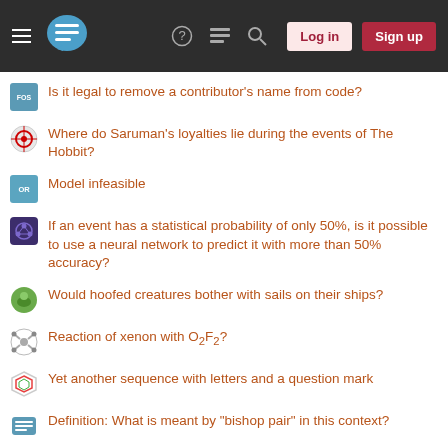Stack Exchange navigation bar with Log in and Sign up buttons
Is it legal to remove a contributor's name from code?
Where do Saruman's loyalties lie during the events of The Hobbit?
Model infeasible
If an event has a statistical probability of only 50%, is it possible to use a neural network to predict it with more than 50% accuracy?
Would hoofed creatures bother with sails on their ships?
Reaction of xenon with O₂F₂?
Yet another sequence with letters and a question mark
Definition: What is meant by "bishop pair" in this context?
Your privacy
By clicking "Accept all cookies", you agree Stack Exchange can store cookies on your device and disclose information in accordance with our Cookie Policy.
[Accept all cookies] [Customize settings]
Pull my own electric meter?